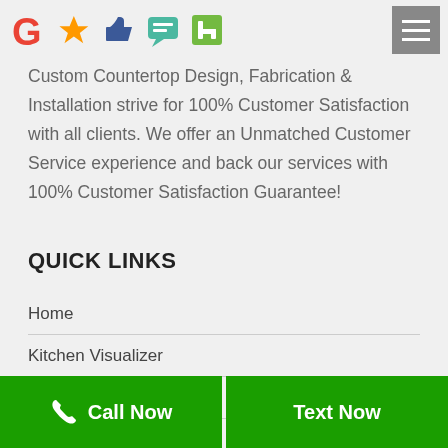[Figure (logo): Row of social/review platform icons: Google (G), orange arrow/thumbs, blue thumbs up, teal speech bubble, green Houzz icon]
Custom Countertop Design, Fabrication & Installation strive for 100% Customer Satisfaction with all clients. We offer an Unmatched Customer Service experience and back our services with 100% Customer Satisfaction Guarantee!
QUICK LINKS
Home
Kitchen Visualizer
Special Deals
Call Now
Text Now